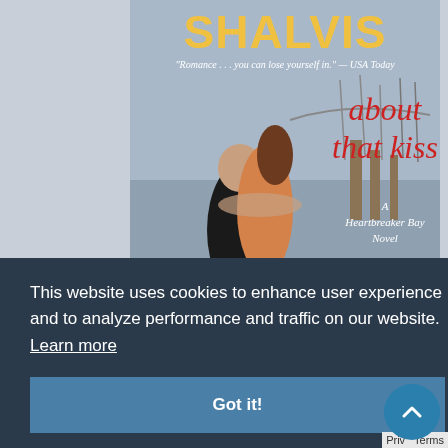[Figure (illustration): Book cover of 'About That Kiss' by Jill Shalvis — A Heartbreaker Bay Novel. Shows a couple embracing near a marina with the Golden Gate Bridge in background. Title in red text, author name in gold/yellow at top. Quote: 'Romance... you can lose yourself in.' — USA Today]
This website uses cookies to enhance user experience and to analyze performance and traffic on our website. Learn more
Got it!